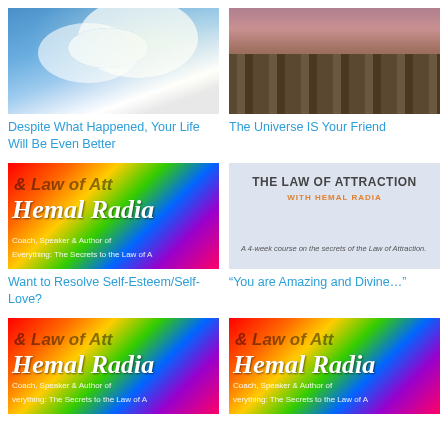[Figure (photo): Sky with clouds and light rays in blue sky]
Despite What Happened, Your Life Will Be Even Better
[Figure (photo): Aerial view of a dense city skyline with skyscrapers]
The Universe IS Your Friend
[Figure (photo): Colorful rainbow gradient background with text: & Law of Att, Hemal Radia, Coach, Speaker & Author of, Everything: The Secrets to the Law of A]
Want to Resolve Self-Esteem/Self-Love?
[Figure (photo): Law of Attraction with Hemal Radia course image on light blue background - A 4-week course on the secrets of the Law of Attraction]
“You are Amazing and Divine…”
[Figure (photo): Colorful rainbow gradient background with text: & Law of Att, Hemal Radia, Coach, Speaker & Author of, verything: The Secrets to the Law of A]
[Figure (photo): Colorful rainbow gradient background with text: & Law of Att, Hemal Radia, Coach, Speaker & Author of, verything: The Secrets to the Law of A]